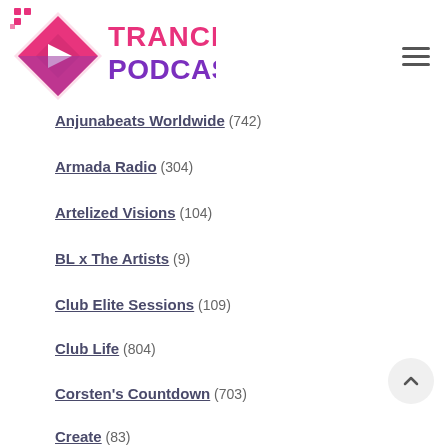[Figure (logo): Trance Podcasts logo with pink diamond/play button icon and text 'TRANCE PODCASTS' in pink and purple]
Anjunabeats Worldwide (742)
Armada Radio (304)
Artelized Visions (104)
BL x The Artists (9)
Club Elite Sessions (109)
Club Life (804)
Corsten's Countdown (703)
Create (83)